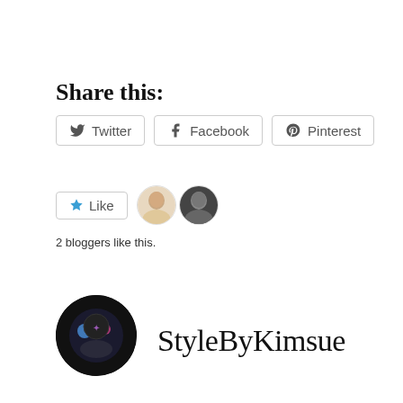Share this:
Twitter  Facebook  Pinterest
[Figure (other): Like button with star icon and two blogger avatar thumbnails]
2 bloggers like this.
[Figure (other): StyleByKimsue author avatar circle with dark background and colorful design]
StyleByKimsue